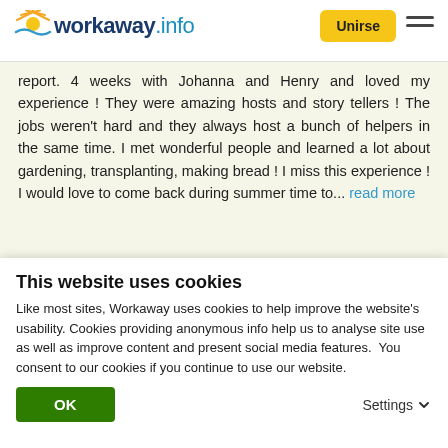workaway.info — Unirse
report. 4 weeks with Johanna and Henry and loved my experience ! They were amazing hosts and story tellers ! The jobs weren't hard and they always host a bunch of helpers in the same time. I met wonderful people and learned a lot about gardening, transplanting, making bread ! I miss this experience ! I would love to come back during summer time to... read more
[Figure (photo): Circular profile photo of a smiling person wearing a beanie hat and scarf in a snowy outdoor setting, with a green info badge below the photo and five orange star rating beneath]
This website uses cookies
Like most sites, Workaway uses cookies to help improve the website's usability. Cookies providing anonymous info help us to analyse site use as well as improve content and present social media features.  You consent to our cookies if you continue to use our website.
OK    Settings